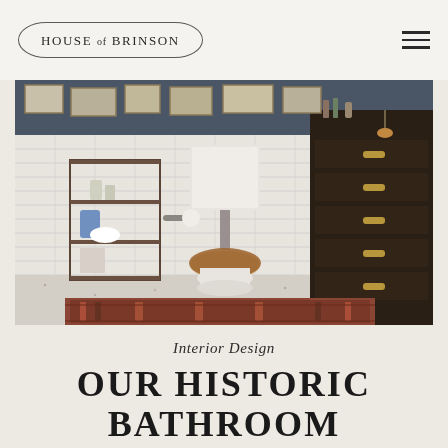HOUSE of BRINSON
[Figure (photo): Interior bathroom photo showing a vintage-style white toilet with high-level cistern and wooden seat, white subway tile walls, a dark wood antique chest of drawers on the right, a slim metal shelving unit on the left with decorative items, and a patterned Persian rug on a terrazzo floor. Framed artwork hangs on the dark upper walls.]
Interior Design
OUR HISTORIC BATHROOM